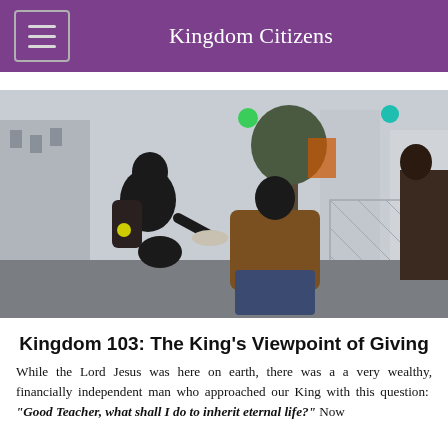Kingdom Citizens
[Figure (photo): Two people on a city street — one crouching down offering something to another person seated on a bench, urban background with blurred traffic lights and buildings]
Kingdom 103:  The King's Viewpoint of Giving
While the Lord Jesus was here on earth, there was a a very wealthy, financially independent man who approached our King with this question:  "Good Teacher, what shall I do to inherit eternal life?"  Now